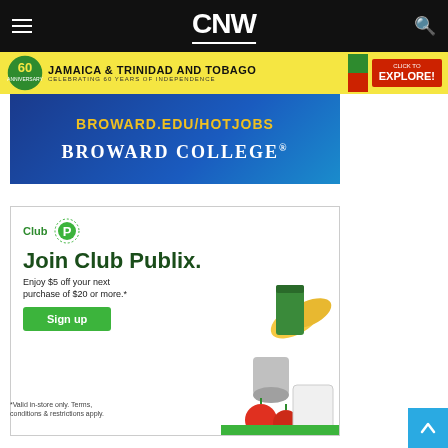[Figure (screenshot): CNW website navigation bar with hamburger menu, CNW logo centered, and search icon]
[Figure (screenshot): Jamaica and Trinidad and Tobago 60 years of independence banner advertisement in yellow]
[Figure (screenshot): Broward College advertisement with URL broward.edu/hotjobs on blue gradient background]
[Figure (screenshot): Club Publix advertisement: Join Club Publix. Enjoy $5 off your next purchase of $20 or more.* Sign up button. Groceries image on right.]
*Valid in-store only. Terms, conditions & restrictions apply.